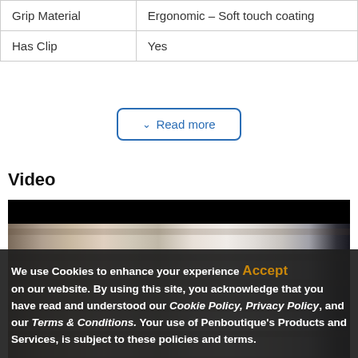| Grip Material | Ergonomic – Soft touch coating |
| Has Clip | Yes |
✓ Read more
Video
[Figure (photo): Video thumbnail showing interior of a pen/stationery store with shelves of products, glass display cases, and ceiling lights.]
We use Cookies to enhance your experience on our website. By using this site, you acknowledge that you have read and understood our Cookie Policy, Privacy Policy, and our Terms & Conditions. Your use of Penboutique's Products and Services, is subject to these policies and terms.